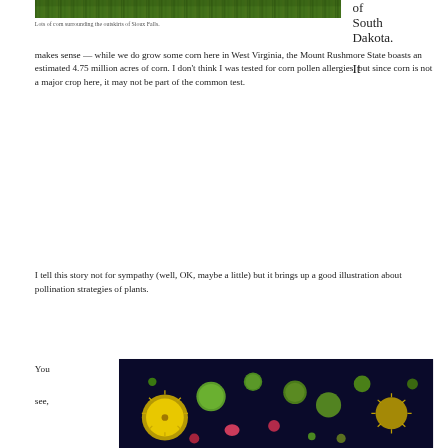[Figure (photo): A cropped photo showing green corn field/grass at the outskirts of Sioux Falls]
Lots of corn surrounding the outskirts of Sioux Falls.
of South Dakota. It makes sense — while we do grow some corn here in West Virginia, the Mount Rushmore State boasts an estimated 4.75 million acres of corn. I don't think I was tested for corn pollen allergies, but since corn is not a major crop here, it may not be part of the common test.
I tell this story not for sympathy (well, OK, maybe a little) but it brings up a good illustration about pollination strategies of plants.
You
see,
[Figure (photo): Colorful microscopic pollen grains on dark background — yellow spiky spheres, green smooth spheres, pink and red grains of various shapes]